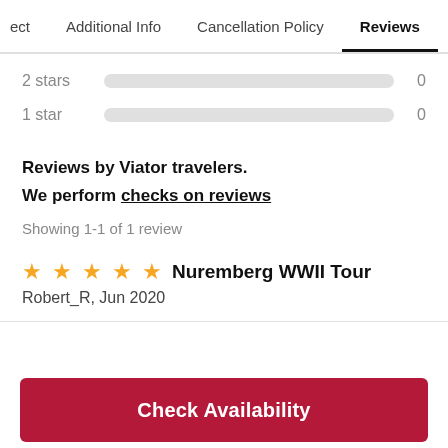ect | Additional Info | Cancellation Policy | Reviews
2 stars   0
1 star   0
Reviews by Viator travelers.
We perform checks on reviews
Showing 1-1 of 1 review
★★★★★ Nuremberg WWII Tour
Robert_R, Jun 2020
Check Availability